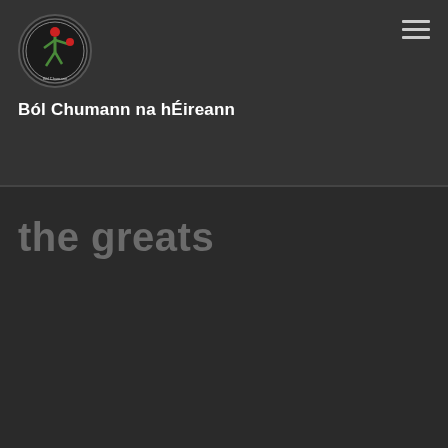[Figure (logo): Ból Chumann na hÉireann circular logo with figure playing bowls, red and green colors on dark background]
Ból Chumann na hÉireann
the greats